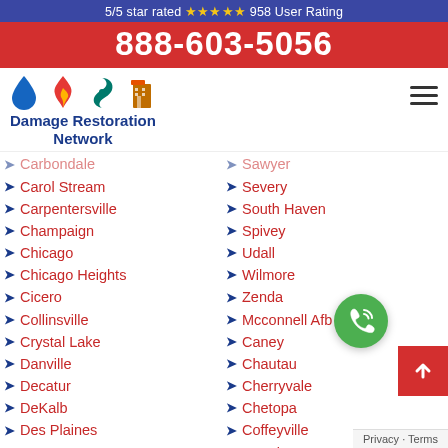5/5 star rated ★★★★★ 958 User Rating
888-603-5056
[Figure (logo): Damage Restoration Network logo with water drop, fire, hurricane, and building icons]
Carbondale
Sawyer
Carol Stream
Severy
Carpentersville
South Haven
Champaign
Spivey
Chicago
Udall
Chicago Heights
Wilmore
Cicero
Zenda
Collinsville
Mcconnell Afb
Crystal Lake
Caney
Danville
Chautauqua
Decatur
Cherryvale
DeKalb
Chetopa
Des Plaines
Coffeyville
Downers Grove
Dennis
East St Louis
Edna
Privacy · Terms